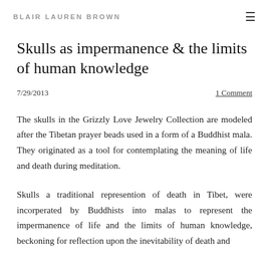BLAIR LAUREN BROWN
Skulls as impermanence & the limits of human knowledge
7/29/2013
1 Comment
The skulls in the Grizzly Love Jewelry Collection are modeled after the Tibetan prayer beads used in a form of a Buddhist mala. They originated as a tool for contemplating the meaning of life and death during meditation.
Skulls a traditional represention of death in Tibet, were incorperated by Buddhists into malas to represent the impermanence of life and the limits of human knowledge, beckoning for reflection upon the inevitability of death and